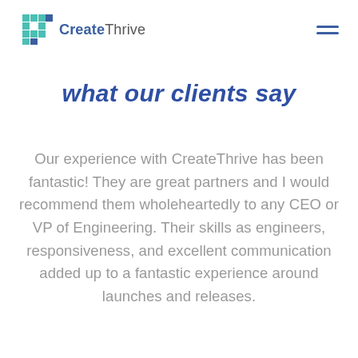[Figure (logo): CreateThrive logo with teal/blue mosaic cross icon and company name]
What our clients say
Our experience with CreateThrive has been fantastic! They are great partners and I would recommend them wholeheartedly to any CEO or VP of Engineering. Their skills as engineers, responsiveness, and excellent communication added up to a fantastic experience around launches and releases.